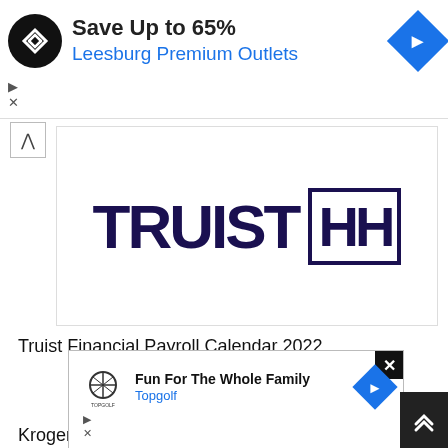[Figure (screenshot): Top advertisement banner: circular black logo with white arrow icon, 'Save Up to 65%' in bold dark text, 'Leesburg Premium Outlets' in blue text, blue diamond arrow on right]
[Figure (logo): Truist Financial logo: 'TRUIST' in large dark navy bold text with 'HH' in a rectangular border box]
Truist Financial Payroll Calendar 2022
[Figure (screenshot): Partial blue circle visible at bottom of page]
[Figure (screenshot): Overlay advertisement: Topgolf logo, 'Fun For The Whole Family' in bold, 'Topgolf' in blue, blue diamond arrow, close button X]
Kroger Pay Schedule 2022